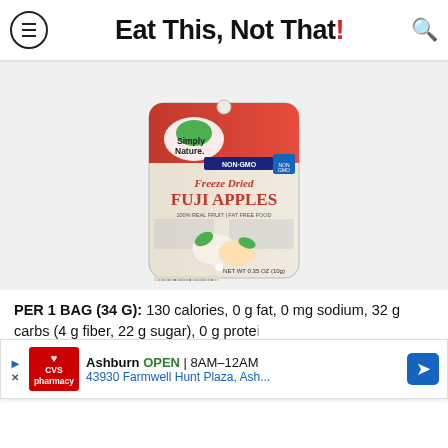Eat This, Not That!
[Figure (photo): Simply Nature Freeze Dried Fuji Apples product package, red and cream colored bag, NET WT 0.35 OZ (10g), NON-GMO, with apple slices and leaves shown on packaging]
PER 1 BAG (34 G): 130 calories, 0 g fat, 0 mg sodium, 32 g carbs (4 g fiber, 22 g sugar), 0 g protein
While
Ashburn OPEN 8AM–12AM 43930 Farmwell Hunt Plaza, Ash...